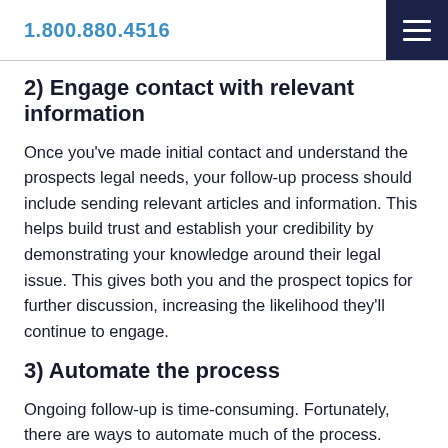1.800.880.4516
2) Engage contact with relevant information
Once you've made initial contact and understand the prospects legal needs, your follow-up process should include sending relevant articles and information. This helps build trust and establish your credibility by demonstrating your knowledge around their legal issue. This gives both you and the prospect topics for further discussion, increasing the likelihood they'll continue to engage.
3) Automate the process
Ongoing follow-up is time-consuming. Fortunately, there are ways to automate much of the process. Invest in an email automation solution such as MailChimp or ConstantContact, to capture